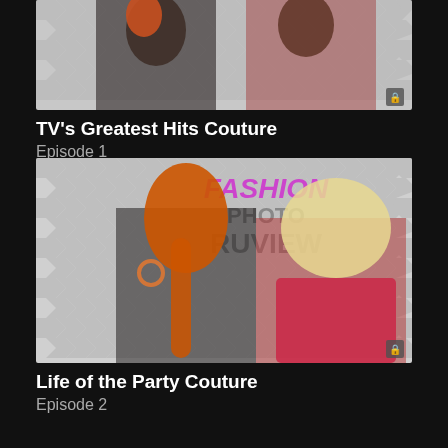[Figure (screenshot): Thumbnail image for 'TV's Greatest Hits Couture' episode 1 of Fashion Photo Ruview, showing two drag queens on a chevron background, partially cropped at top]
TV's Greatest Hits Couture
Episode 1
[Figure (screenshot): Thumbnail image for 'Life of the Party Couture' episode 2 of Fashion Photo Ruview, showing two drag queens on a chevron background with 'Fashion Photo Ruview' title overlay]
Life of the Party Couture
Episode 2